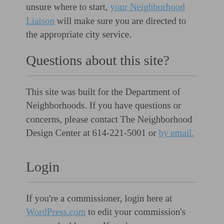unsure where to start, your Neighborhood Liaison will make sure you are directed to the appropriate city service.
Questions about this site?
This site was built for the Department of Neighborhoods. If you have questions or concerns, please contact The Neighborhood Design Center at 614-221-5001 or by email.
Login
If you're a commissioner, login here at WordPress.com to edit your commission's page and add posts. If you're a